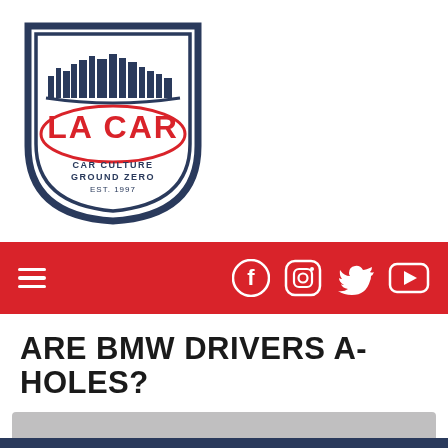[Figure (logo): LA CAR logo - shield shape with navy blue border, city skyline silhouette at top, red text 'LA CAR' in center, subtitle 'CAR CULTURE GROUND ZERO EST. 1997' at bottom]
[Figure (infographic): Red navigation bar with white hamburger menu icon on left and white social media icons (Facebook, Instagram, Twitter, YouTube) on right]
ARE BMW DRIVERS A-HOLES?
This article is from our archives and has not been updated and integrated with our "new" site yet... Even so, it's still awesome - so keep reading!